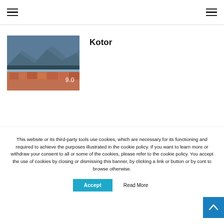Navigation bar with hamburger menus on left and right
[Figure (photo): Aerial photo of Kotor, Montenegro showing red-roofed buildings near the bay with mountains in the background. Score 9.0 overlaid.]
Kotor
This website or its third-party tools use cookies, which are necessary for its functioning and required to achieve the purposes illustrated in the cookie policy. If you want to learn more or withdraw your consent to all or some of the cookies, please refer to the cookie policy. You accept the use of cookies by closing or dismissing this banner, by clicking a link or button or by cont to browse otherwise.
Accept
Read More